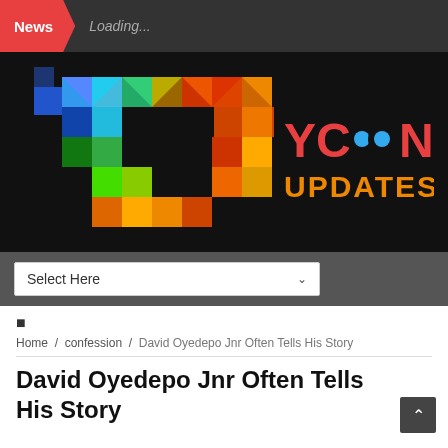News  Loading...
[Figure (logo): Tycoons Updates logo with colorful geometric T shape and stylized text on black background]
Select Here
■
Home / confession / David Oyedepo Jnr Often Tells His Story
David Oyedepo Jnr Often Tells His Story